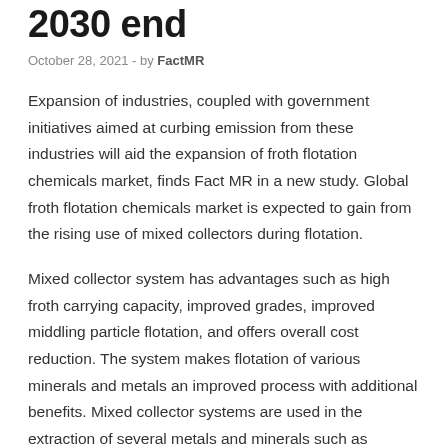2030 end
October 28, 2021  -  by FactMR
Expansion of industries, coupled with government initiatives aimed at curbing emission from these industries will aid the expansion of froth flotation chemicals market, finds Fact MR in a new study. Global froth flotation chemicals market is expected to gain from the rising use of mixed collectors during flotation.
Mixed collector system has advantages such as high froth carrying capacity, improved grades, improved middling particle flotation, and offers overall cost reduction. The system makes flotation of various minerals and metals an improved process with additional benefits. Mixed collector systems are used in the extraction of several metals and minerals such as hematite, magnetite, quartz, and phosphate.